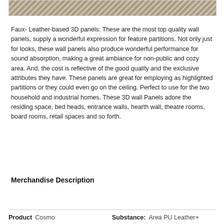[Figure (photo): Textured pattern image strip at the top of the page]
Faux- Leather-based 3D panels: These are the most top quality wall panels, supply a wonderful expression for feature partitions. Not only just for looks, these wall panels also produce wonderful performance for sound absorption, making a great ambiance for non-public and cozy area. And, the cost is reflective of the good quality and the exclusive attributes they have. These panels are great for employing as highlighted partitions or they could even go on the ceiling. Perfect to use for the two household and industrial homes. These 3D wall Panels adore the residing space, bed heads, entrance walls, hearth wall, theatre rooms, board rooms, retail spaces and so forth.
Merchandise Description
| Product |  | Substance |  |
| --- | --- | --- | --- |
| Cosmo |  | Area PU Leather+ |  |